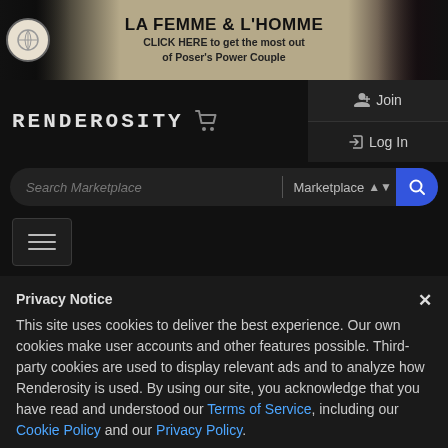[Figure (illustration): Banner advertisement for 'La Femme & L'Homme' featuring two 3D rendered figures (male and female) on dark background with text overlay]
LA FEMME & L'HOMME
CLICK HERE to get the most out of Poser's Power Couple
[Figure (logo): Renderosity logo with shopping cart icon]
RENDEROSITY
Join
Log In
Search Marketplace
Marketplace
Privacy Notice
This site uses cookies to deliver the best experience. Our own cookies make user accounts and other features possible. Third-party cookies are used to display relevant ads and to analyze how Renderosity is used. By using our site, you acknowledge that you have read and understood our Terms of Service, including our Cookie Policy and our Privacy Policy.